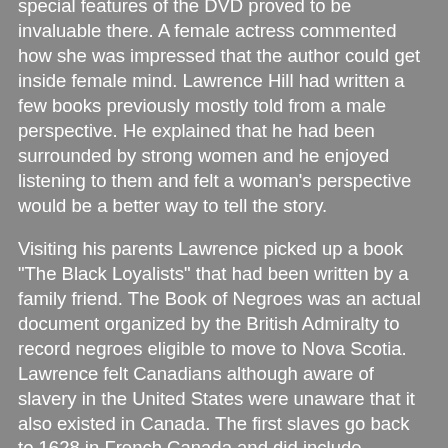special features of the DVD proved to be invaluable there. A female actress commented how she was impressed that the author could get inside female mind. Lawrence Hill had written a few books previously mostly told from a male perspective. He explained that he had been surrounded by strong women and he enjoyed listening to them and felt a woman's perspective would be a better way to tell the story.
Visiting his parents Lawrence picked up a book "The Black Loyalists" that had been written by a family friend. The Book of Negroes was an actual document organized by the British Admiralty to record negroes eligible to move to Nova Scotia. Lawrence felt Canadians although aware of slavery in the United States were unaware that it also existed in Canada. The first slaves go back to 1628 in French Canada and did include indigenous people. Lawrence's father, Daniel Hill, a black man had married a white woman and consequently moved to Canada. Eventually he became the first director of the Ontario Human Rights Commission.
Part of the movie was shot in Cape Town, South Africa just after Mandela had died. Giulio Biccari, born in Johannesburg was responsible for the cinematography. His